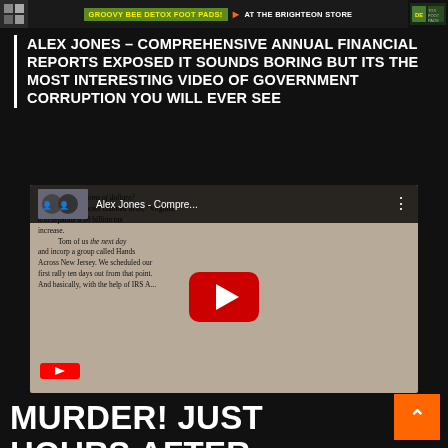[Figure (other): Advertisement banner for Groovy Bee Detox Foot Pads at the Brighteon Store]
ALEX JONES – COMPREHENSIVE ANNUAL FINANCIAL REPORTS EXPOSED IT SOUNDS BORING BUT ITS THE MOST INTERESTING VIDEO OF GOVERNMENT CORRUPTION YOU WILL EVER SEE
[Figure (screenshot): YouTube video embed thumbnail: Alex Jones - Compre... showing a document page with handwritten/printed text, with a red YouTube play button overlay and video title bar]
MURDER! JUST HOURS AFTER PUBLISHING THE RESEARCH ON THE VAX, DR NOACK IS DEAD.